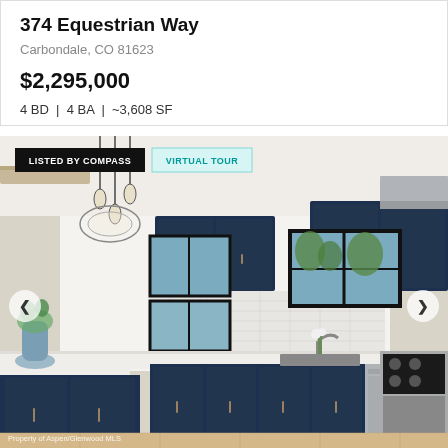374 Equestrian Way
Carbondale, CO 81623
$2,295,000
4 BD  |  4 BA  |  ~3,608 SF
[Figure (photo): Interior kitchen photo of 374 Equestrian Way showing navy blue shaker cabinets, white quartz countertops, black-framed windows, stainless steel appliances including range and dishwasher, subway tile backsplash, pendant lighting, and light hardwood floors. Overlaid with 'LISTED BY COMPASS' and 'VIRTUAL TOUR' badges and navigation arrows. Watermark reads 'Property of Aspen/Glenwood MLS'.]